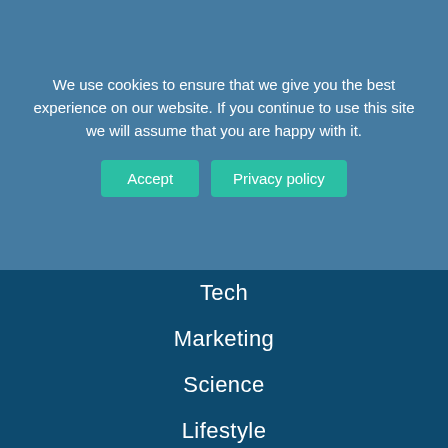We use cookies to ensure that we give you the best experience on our website. If you continue to use this site we will assume that you are happy with it.
Tech
Marketing
Science
Lifestyle
Infographics
Videos
Case Study Center
Research Reports